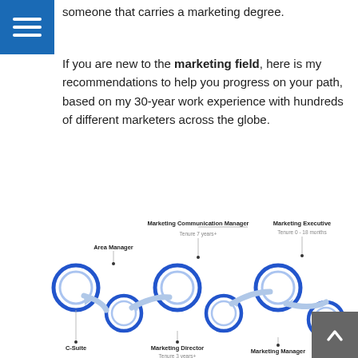someone that carries a marketing degree.
If you are new to the marketing field, here is my recommendations to help you progress on your path, based on my 30-year work experience with hundreds of different marketers across the globe.
[Figure (flowchart): Career path flowchart showing marketing roles connected by arrows: Marketing Executive (Tenure 0-18 months), Marketing Communication Manager (Tenure 7 years+), Area Manager, Marketing Director (Tenure 3 years+), C-Suite, Marketing Manager — represented as blue circles connected with curved arrows in a winding path pattern.]